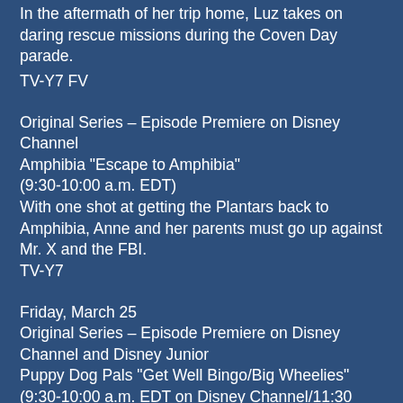In the aftermath of her trip home, Luz takes on daring rescue missions during the Coven Day parade.
TV-Y7 FV
Original Series – Episode Premiere on Disney Channel
Amphibia "Escape to Amphibia"
(9:30-10:00 a.m. EDT)
With one shot at getting the Plantars back to Amphibia, Anne and her parents must go up against Mr. X and the FBI.
TV-Y7
Friday, March 25
Original Series – Episode Premiere on Disney Channel and Disney Junior
Puppy Dog Pals "Get Well Bingo/Big Wheelies"
(9:30-10:00 a.m. EDT on Disney Channel/11:30 a.m.-12:00 p.m. EDT on Disney Junior)
"Get Well Bingo" – When Keia disappears, Rolly and Lollie